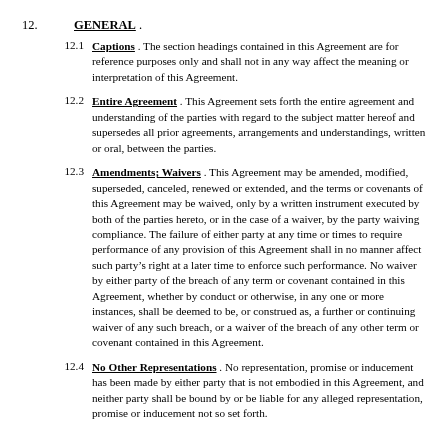12. GENERAL .
12.1 Captions . The section headings contained in this Agreement are for reference purposes only and shall not in any way affect the meaning or interpretation of this Agreement.
12.2 Entire Agreement . This Agreement sets forth the entire agreement and understanding of the parties with regard to the subject matter hereof and supersedes all prior agreements, arrangements and understandings, written or oral, between the parties.
12.3 Amendments; Waivers . This Agreement may be amended, modified, superseded, canceled, renewed or extended, and the terms or covenants of this Agreement may be waived, only by a written instrument executed by both of the parties hereto, or in the case of a waiver, by the party waiving compliance. The failure of either party at any time or times to require performance of any provision of this Agreement shall in no manner affect such party’s right at a later time to enforce such performance. No waiver by either party of the breach of any term or covenant contained in this Agreement, whether by conduct or otherwise, in any one or more instances, shall be deemed to be, or construed as, a further or continuing waiver of any such breach, or a waiver of the breach of any other term or covenant contained in this Agreement.
12.4 No Other Representations . No representation, promise or inducement has been made by either party that is not embodied in this Agreement, and neither party shall be bound by or be liable for any alleged representation, promise or inducement not so set forth.